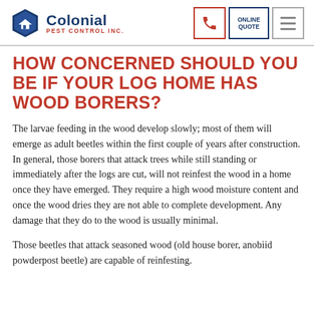[Figure (logo): Colonial Pest Control Inc. logo with hexagonal house icon in blue]
HOW CONCERNED SHOULD YOU BE IF YOUR LOG HOME HAS WOOD BORERS?
The larvae feeding in the wood develop slowly; most of them will emerge as adult beetles within the first couple of years after construction. In general, those borers that attack trees while still standing or immediately after the logs are cut, will not reinfest the wood in a home once they have emerged. They require a high wood moisture content and once the wood dries they are not able to complete development. Any damage that they do to the wood is usually minimal.
Those beetles that attack seasoned wood (old house borer, anobiid powderpost beetle) are capable of reinfesting. As their infestations can be more severe, still…